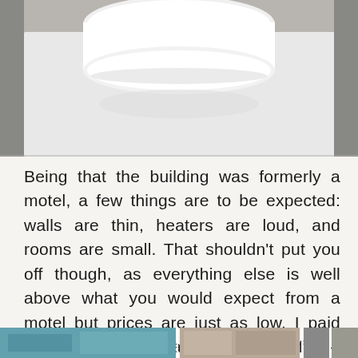[Figure (photo): Close-up photo of a white toilet lid/seat on a white surface, taken from above at an angle. The background shows a light colored floor or surface.]
Being that the building was formerly a motel, a few things are to be expected: walls are thin, heaters are loud, and rooms are small. That shouldn't put you off though, as everything else is well above what you would expect from a motel but prices are just as low. I paid about $47 a night after taxes and fees–an incredible value!
[Figure (photo): A strip of three or more thumbnail photos at the bottom of the page, partially visible. The leftmost shows a blue/teal colored interior, the middle shows what appears to be a room interior, and additional smaller thumbnails appear on the right.]